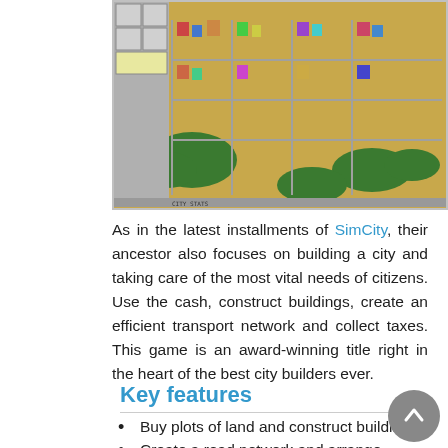[Figure (screenshot): SimCity classic game screenshot showing a city map with buildings, roads, and green spaces on an orange/brown terrain background, with a toolbar on the left side.]
As in the latest installments of SimCity, their ancestor also focuses on building a city and taking care of the most vital needs of citizens. Use the cash, construct buildings, create an efficient transport network and collect taxes. This game is an award-winning title right in the heart of the best city builders ever.
Key features
Buy plots of land and construct buildings
Create a road network and arrange